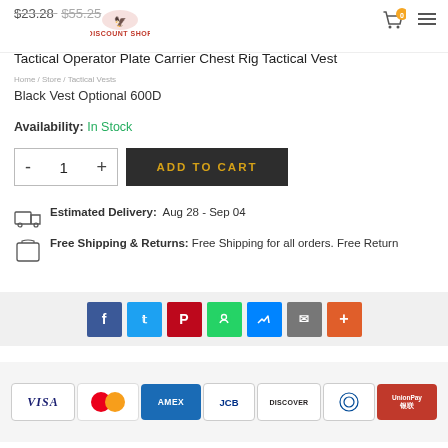$23.28 $55.25 DISCOUNT SHOP
Tactical Operator Plate Carrier Chest Rig Tactical Vest
Black Vest Optional 600D
Availability: In Stock
[Figure (other): Quantity selector with minus, 1, plus and Add to Cart button]
Estimated Delivery: Aug 28 - Sep 04
Free Shipping & Returns: Free Shipping for all orders. Free Return
[Figure (other): Social share buttons: Facebook, Twitter, Pinterest, WhatsApp, Messenger, Email, More]
[Figure (other): Payment method icons: VISA, Mastercard, AMEX, JCB, DISCOVER, Diners Club, UnionPay]